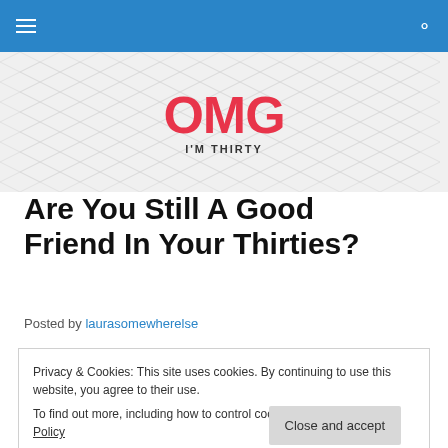OMG I'M THIRTY — navigation bar
[Figure (logo): OMG I'M THIRTY logo on a light grey background with a diamond dot pattern. 'OMG' in large bold red text, 'I'M THIRTY' in small bold dark grey text below.]
Are You Still A Good Friend In Your Thirties?
Posted by laurasomewherelse
Privacy & Cookies: This site uses cookies. By continuing to use this website, you agree to their use.
To find out more, including how to control cookies, see here: Cookie Policy
[Close and accept]